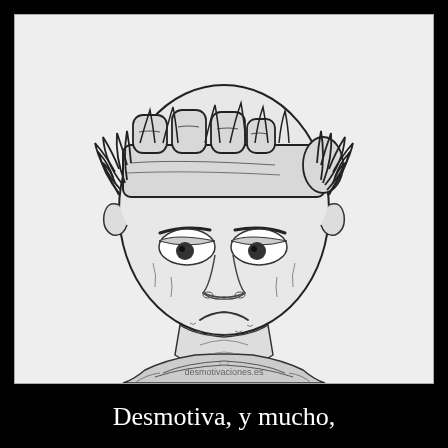[Figure (illustration): Black and white cartoon/sketch illustration of a dejected-looking man's face and upper torso. The man has spiky hair, heavy drooping eyelids, a flat frowning expression, stubble on his chin, and is wearing a crew-neck sweater. A large hand is pressing down on his head from above, flattening it. The watermark 'desmotivaciones.es' appears at the bottom of the illustration.]
Desmotiva, y mucho,